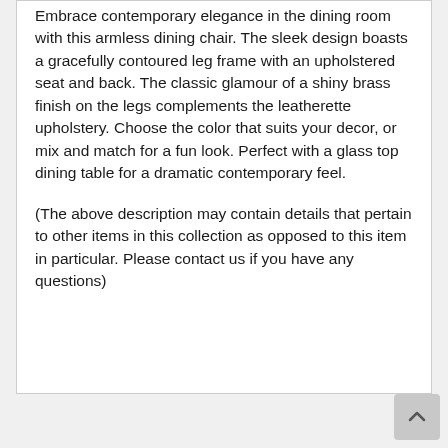Embrace contemporary elegance in the dining room with this armless dining chair. The sleek design boasts a gracefully contoured leg frame with an upholstered seat and back. The classic glamour of a shiny brass finish on the legs complements the leatherette upholstery. Choose the color that suits your decor, or mix and match for a fun look. Perfect with a glass top dining table for a dramatic contemporary feel.
(The above description may contain details that pertain to other items in this collection as opposed to this item in particular. Please contact us if you have any questions)